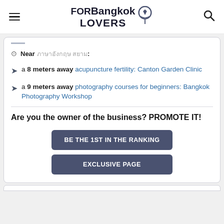FORBangkok LOVERS
Near ภาษาอังกฤษ สยาม:
a 8 meters away acupuncture fertility: Canton Garden Clinic
a 9 meters away photography courses for beginners: Bangkok Photography Workshop
Are you the owner of the business? PROMOTE IT!
BE THE 1ST IN THE RANKING
EXCLUSIVE PAGE